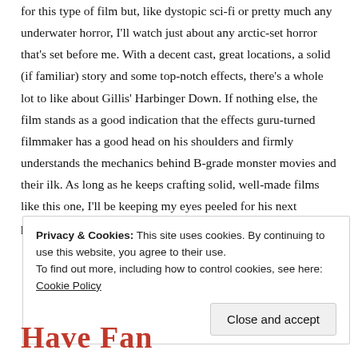for this type of film but, like dystopic sci-fi or pretty much any underwater horror, I'll watch just about any arctic-set horror that's set before me. With a decent cast, great locations, a solid (if familiar) story and some top-notch effects, there's a whole lot to like about Gillis' Harbinger Down. If nothing else, the film stands as a good indication that the effects guru-turned filmmaker has a good head on his shoulders and firmly understands the mechanics behind B-grade monster movies and their ilk. As long as he keeps crafting solid, well-made films like this one, I'll be keeping my eyes peeled for his next project.
Privacy & Cookies: This site uses cookies. By continuing to use this website, you agree to their use.
To find out more, including how to control cookies, see here: Cookie Policy
Close and accept
Have Fan